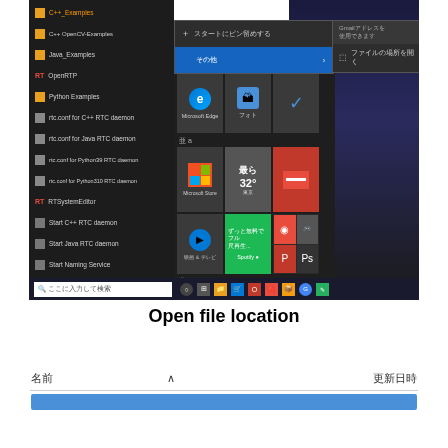[Figure (screenshot): Windows 10 Start menu screenshot showing context menu with 'スタートにピン留めする' (Pin to Start) and 'その他' (More) options, file submenu showing 'ファイルの場所を開く' (Open file location), live tiles including Microsoft Edge, Photos, Microsoft Store, weather showing 32°, Tokyo, various app tiles, and taskbar with search box showing 'ここに入力して検索']
Open file location
| 名前 |  | 更新日時 |
| --- | --- | --- |
|  |  |  |